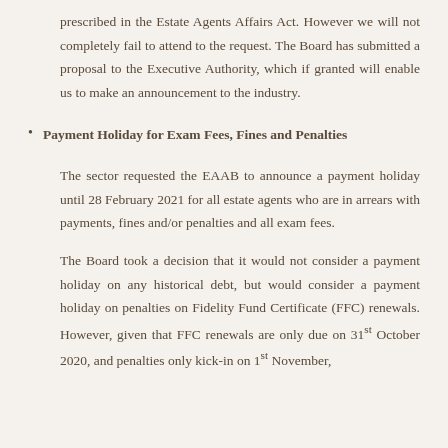prescribed in the Estate Agents Affairs Act. However we will not completely fail to attend to the request. The Board has submitted a proposal to the Executive Authority, which if granted will enable us to make an announcement to the industry.
Payment Holiday for Exam Fees, Fines and Penalties
The sector requested the EAAB to announce a payment holiday until 28 February 2021 for all estate agents who are in arrears with payments, fines and/or penalties and all exam fees.
The Board took a decision that it would not consider a payment holiday on any historical debt, but would consider a payment holiday on penalties on Fidelity Fund Certificate (FFC) renewals. However, given that FFC renewals are only due on 31st October 2020, and penalties only kick-in on 1st November,